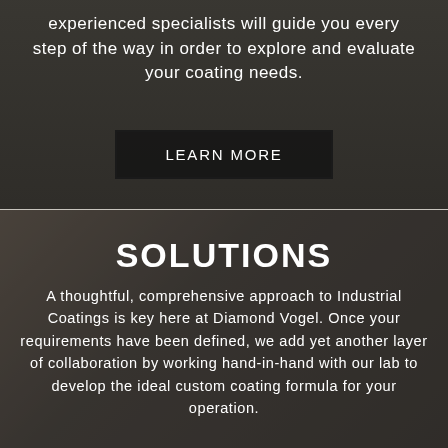[Figure (photo): Dark background photo of two people, one looking at a phone/tablet, in a professional/industrial setting]
experienced specialists will guide you every step of the way in order to explore and evaluate your coating needs.
LEARN MORE
[Figure (photo): Dark background photo of a person in industrial/lab setting working on coating equipment]
SOLUTIONS
A thoughtful, comprehensive approach to Industrial Coatings is key here at Diamond Vogel. Once your requirements have been defined, we add yet another layer of collaboration by working hand-in-hand with our lab to develop the ideal custom coating formula for your operation.